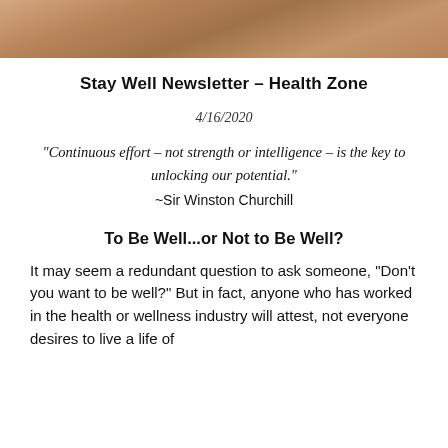[Figure (photo): Photo of an animal (appears to be a warm-toned close-up, cropped at top of page)]
Stay Well Newsletter – Health Zone
4/16/2020
“Continuous effort – not strength or intelligence – is the key to unlocking our potential.” ~Sir Winston Churchill
To Be Well...or Not to Be Well?
It may seem a redundant question to ask someone, “Don’t you want to be well?” But in fact, anyone who has worked in the health or wellness industry will attest, not everyone desires to live a life of